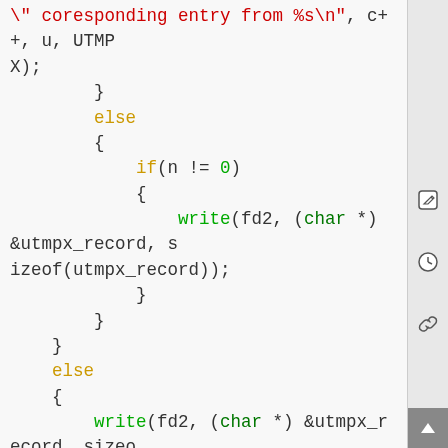[Figure (screenshot): Code snippet showing C code with syntax highlighting. Contains closing braces, else blocks, if(n != 0) check, write() calls with fd2 and utmpx_record, close() calls for fd1 and fd2, if(n == 0) check, and fprintf() call to stdout.]